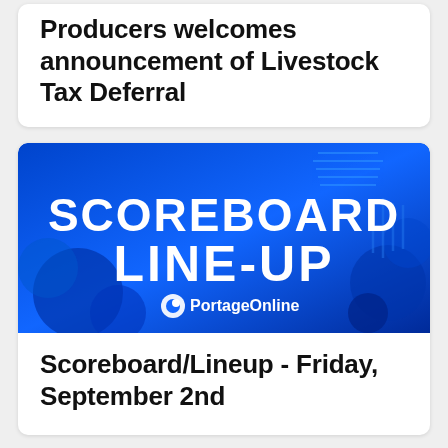Producers welcomes announcement of Livestock Tax Deferral
[Figure (illustration): Scoreboard Line-Up promotional image with blue background featuring sports/board game equipment and PortageOnline logo]
Scoreboard/Lineup - Friday, September 2nd